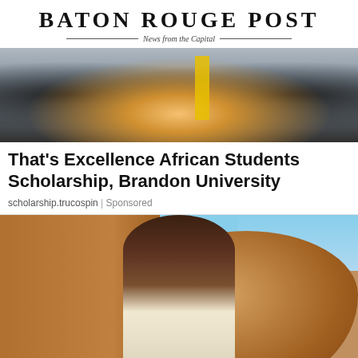Baton Rouge Post — News from the Capital
[Figure (photo): Graduation photo showing people in graduation gowns with a yellow academic stole visible]
That's Excellence African Students Scholarship, Brandon University
scholarship.trucospin | Sponsored
[Figure (photo): Young woman with long dark hair wearing a white patterned dress, leaning against a sandy rock formation in a desert setting]